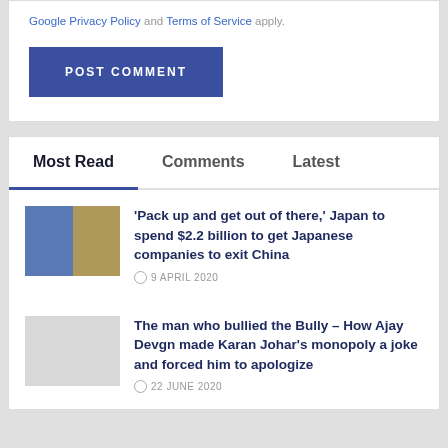Google Privacy Policy and Terms of Service apply.
POST COMMENT
Most Read | Comments | Latest
'Pack up and get out of there,' Japan to spend $2.2 billion to get Japanese companies to exit China
9 APRIL 2020
The man who bullied the Bully – How Ajay Devgn made Karan Johar's monopoly a joke and forced him to apologize
22 JUNE 2020